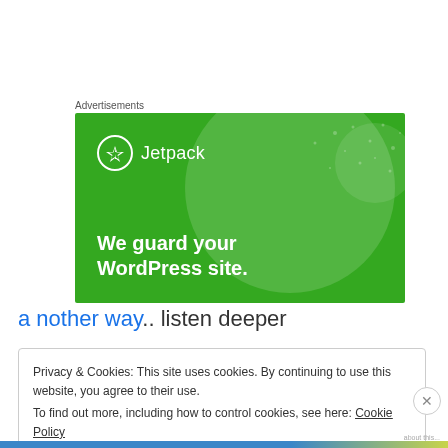Advertisements
[Figure (illustration): Jetpack advertisement banner on green background with text 'We guard your WordPress site.']
a nother way.. listen deeper
Privacy & Cookies: This site uses cookies. By continuing to use this website, you agree to their use.
To find out more, including how to control cookies, see here: Cookie Policy
Close and accept